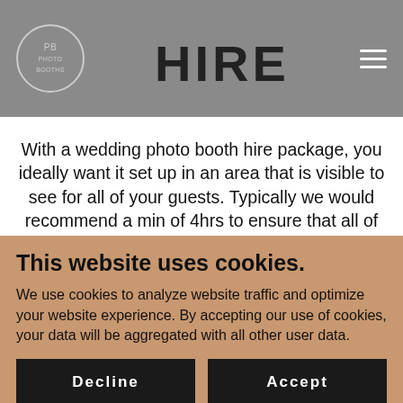HIRE
With a wedding photo booth hire package, you ideally want it set up in an area that is visible to see for all of your guests. Typically we would recommend a min of 4hrs to ensure that all of your guests get an opportunity to use the photo booth while also
This website uses cookies.
We use cookies to analyze website traffic and optimize your website experience. By accepting our use of cookies, your data will be aggregated with all other user data.
Decline
Accept